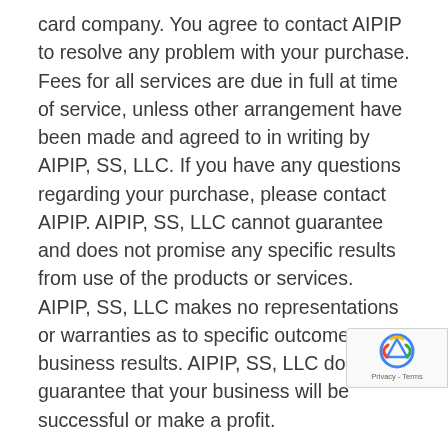card company. You agree to contact AIPIP to resolve any problem with your purchase. Fees for all services are due in full at time of service, unless other arrangement have been made and agreed to in writing by AIPIP, SS, LLC. If you have any questions regarding your purchase, please contact AIPIP. AIPIP, SS, LLC cannot guarantee and does not promise any specific results from use of the products or services. AIPIP, SS, LLC makes no representations or warranties as to specific outcomes or business results. AIPIP, SS, LLC does not guarantee that your business will be successful or make a profit.
Product Purchase. This section applies only to hard copy products (DVDs). Hard-copy products cannot be returned. Unless otherwise indicated at the time of purchase, no refunds may be obtained for the purchase of downloadable or virtual products of any